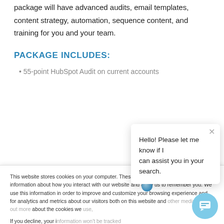package will have advanced audits, email templates, content strategy, automation, sequence content, and training for you and your team.
PACKAGE INCLUDES:
55-point HubSpot Audit on current accounts
This website stores cookies on your computer. These cookies are used to collect information about how you interact with our website and allow us to remember you. We use this information in order to improve and customize your browsing experience and for analytics and metrics about our visitors both on this website and other media. To find out more about the cookies we use,
If you decline, your information won't be tracked when you visit this website. A single cookie will be used in your browser to remember your preference not to be tracked.
Hello! Please let me know if I can assist you in your search.